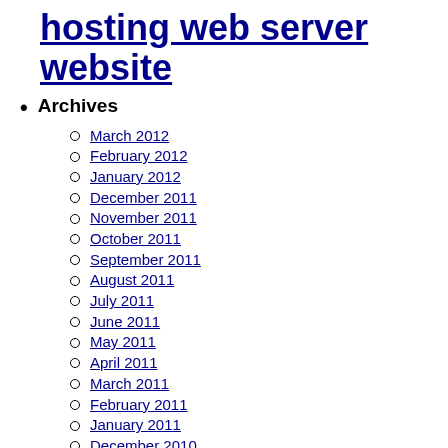hosting web server website
Archives
March 2012
February 2012
January 2012
December 2011
November 2011
October 2011
September 2011
August 2011
July 2011
June 2011
May 2011
April 2011
March 2011
February 2011
January 2011
December 2010
November 2010
October 2010
September 2010
August 2010